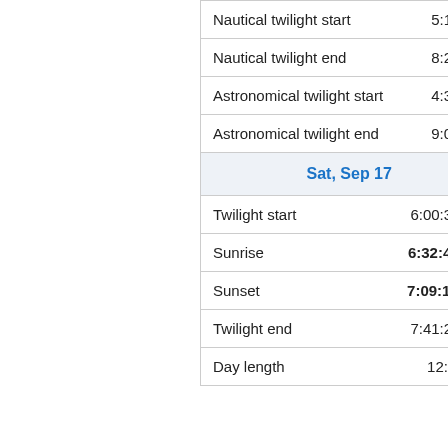| Event | Time |
| --- | --- |
| Nautical twilight start | 5:18 am |
| Nautical twilight end | 8:24 pm |
| Astronomical twilight start | 4:35 am |
| Astronomical twilight end | 9:07 pm |
| Sat, Sep 17 |  |
| Twilight start | 6:00:33 am |
| Sunrise | 6:32:48 am |
| Sunset | 7:09:14 pm |
| Twilight end | 7:41:29 pm |
| Day length | 12:36:26 |